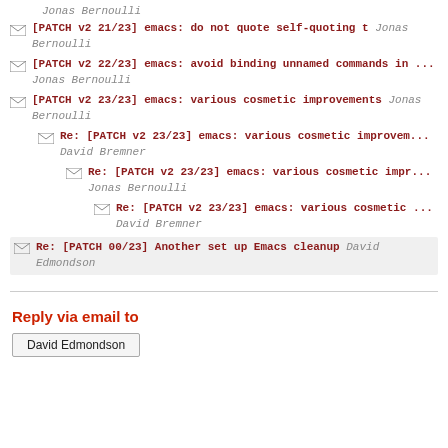Jonas Bernoulli
[PATCH v2 21/23] emacs: do not quote self-quoting t Jonas Bernoulli
[PATCH v2 22/23] emacs: avoid binding unnamed commands in ... Jonas Bernoulli
[PATCH v2 23/23] emacs: various cosmetic improvements Jonas Bernoulli
Re: [PATCH v2 23/23] emacs: various cosmetic improvem... David Bremner
Re: [PATCH v2 23/23] emacs: various cosmetic impr... Jonas Bernoulli
Re: [PATCH v2 23/23] emacs: various cosmetic ... David Bremner
Re: [PATCH 00/23] Another set up Emacs cleanup David Edmondson
Reply via email to
David Edmondson